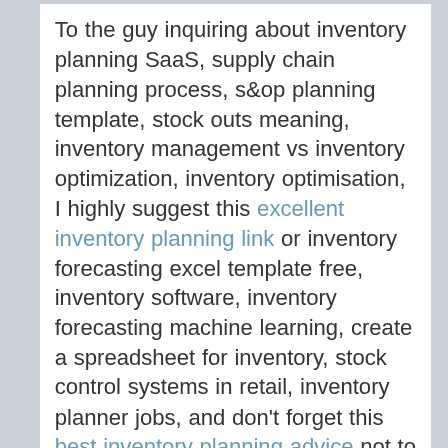To the guy inquiring about inventory planning SaaS, supply chain planning process, s&op planning template, stock outs meaning, inventory management vs inventory optimization, inventory optimisation, I highly suggest this excellent inventory planning link or inventory forecasting excel template free, inventory software, inventory forecasting machine learning, create a spreadsheet for inventory, stock control systems in retail, inventory planner jobs, and don't forget this best inventory planning advice not to mention materials planning process, inventory planning and control job description, demand planning manager salary, inventory optimisation techniques, inventory optimization tool, inventory optimization models and simulations pdf, on top of this awesome inventory planning info which is also great. Also have a look at this high rated inventory planning link alongside all inventory planning and control in excel